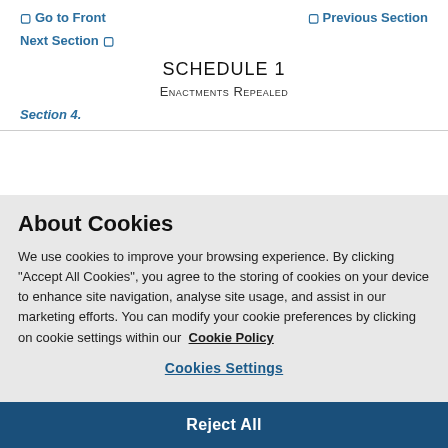☐ Go to Front
☐ Previous Section
Next Section ☐
SCHEDULE 1
Enactments Repealed
Section 4.
About Cookies
We use cookies to improve your browsing experience. By clicking "Accept All Cookies", you agree to the storing of cookies on your device to enhance site navigation, analyse site usage, and assist in our marketing efforts. You can modify your cookie preferences by clicking on cookie settings within our Cookie Policy
Cookies Settings
Reject All